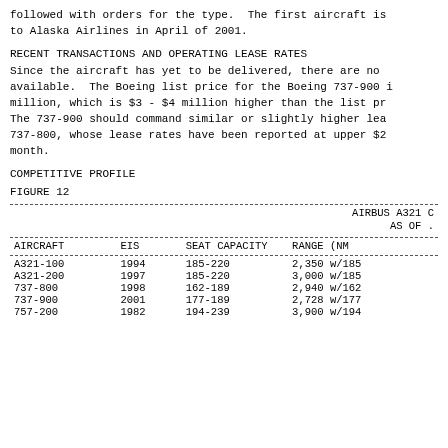followed with orders for the type. The first aircraft is to Alaska Airlines in April of 2001.
RECENT TRANSACTIONS AND OPERATING LEASE RATES
Since the aircraft has yet to be delivered, there are no available. The Boeing list price for the Boeing 737-900 is million, which is $3 - $4 million higher than the list pr The 737-900 should command similar or slightly higher lea 737-800, whose lease rates have been reported at upper $2 month.
COMPETITIVE PROFILE
FIGURE 12
| AIRCRAFT | EIS | SEAT CAPACITY | RANGE (NM) |
| --- | --- | --- | --- |
| A321-100 | 1994 | 185-220 | 2,350 w/185 |
| A321-200 | 1997 | 185-220 | 3,000 w/185 |
| 737-800 | 1998 | 162-189 | 2,940 w/162 |
| 737-900 | 2001 | 177-189 | 2,728 w/177 |
| 757-200 | 1982 | 194-239 | 3,900 w/194 |